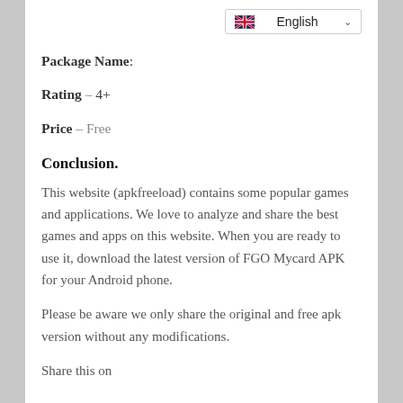Package Name:
Rating – 4+
Price – Free
Conclusion.
This website (apkfreeload) contains some popular games and applications. We love to analyze and share the best games and apps on this website. When you are ready to use it, download the latest version of FGO Mycard APK for your Android phone.
Please be aware we only share the original and free apk version without any modifications.
Share this on